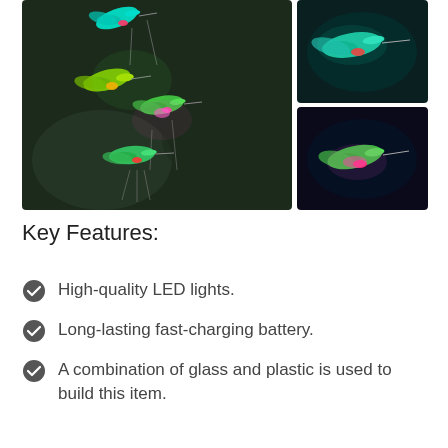[Figure (photo): Three-panel photo of illuminated hummingbird wind chime with colorful LED lights. Left panel shows multiple glowing hummingbirds (green, pink, yellow) hanging in dark outdoor setting. Top-right panel shows close-up of a green-lit hummingbird. Bottom-right panel shows a hummingbird with pink and red lighting.]
Key Features:
High-quality LED lights.
Long-lasting fast-charging battery.
A combination of glass and plastic is used to build this item.